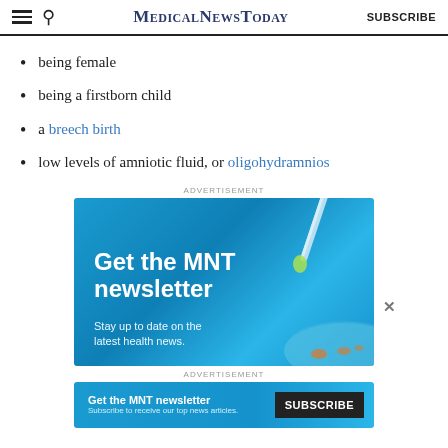MedicalNewsToday  SUBSCRIBE
being female
being a firstborn child
a breech birth
low levels of amniotic fluid, or oligohydramnios
ADVERTISEMENT
[Figure (infographic): MNT newsletter advertisement banner with dropper and petri dish illustration, text: Get the MNT newsletter. Stay up to date on the latest health news.]
ADVERTISEMENT
[Figure (infographic): MNT newsletter small banner ad with Subscribe button: Get the MNT newsletter. Subscribe to receive our top news articles.]